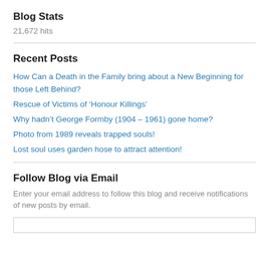Blog Stats
21,672 hits
Recent Posts
How Can a Death in the Family bring about a New Beginning for those Left Behind?
Rescue of Victims of ‘Honour Killings’
Why hadn’t George Formby (1904 – 1961) gone home?
Photo from 1989 reveals trapped souls!
Lost soul uses garden hose to attract attention!
Follow Blog via Email
Enter your email address to follow this blog and receive notifications of new posts by email.